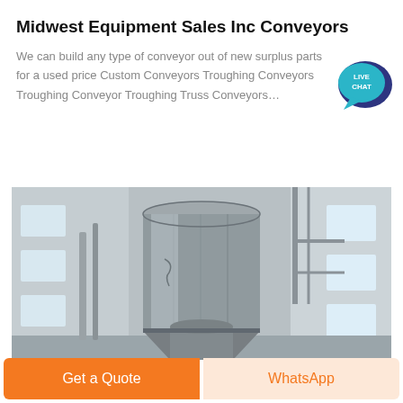Midwest Equipment Sales Inc Conveyors
We can build any type of conveyor out of new surplus parts for a used price Custom Conveyors Troughing Conveyors Troughing Conveyor Troughing Truss Conveyors…
[Figure (photo): Industrial conveyor equipment — large cylindrical metal duct/chute in an industrial building interior, showing sheet metal fabrication with a hopper transition, concrete walls and steel structure in background]
Get a Quote
WhatsApp